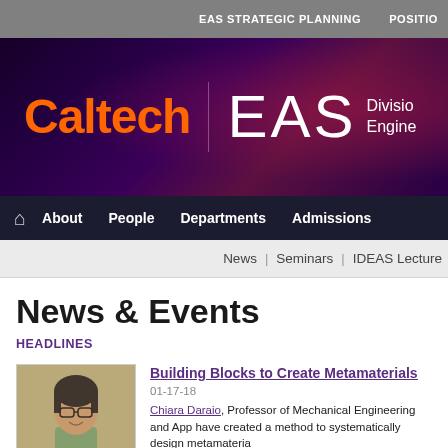EAS STRATEGIC PLANNING   POSITIO
[Figure (logo): Caltech EAS Division of Engineering banner with orange Caltech wordmark and white EAS logo on dark purple/maroon gradient background]
About   People   Departments   Admissions
News | Seminars | IDEAS Lecture
News & Events
HEADLINES
Building Blocks to Create Metamaterials
01-17-18
Chiara Daraio, Professor of Mechanical Engineering and App have created a method to systematically design metamateria